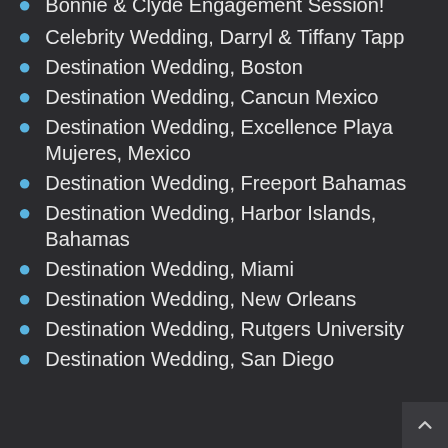Bonnie & Clyde Engagement Session!
Celebrity Wedding, Darryl & Tiffany Tapp
Destination Wedding, Boston
Destination Wedding, Cancun Mexico
Destination Wedding, Excellence Playa Mujeres, Mexico
Destination Wedding, Freeport Bahamas
Destination Wedding, Harbor Islands, Bahamas
Destination Wedding, Miami
Destination Wedding, New Orleans
Destination Wedding, Rutgers University
Destination Wedding, San Diego